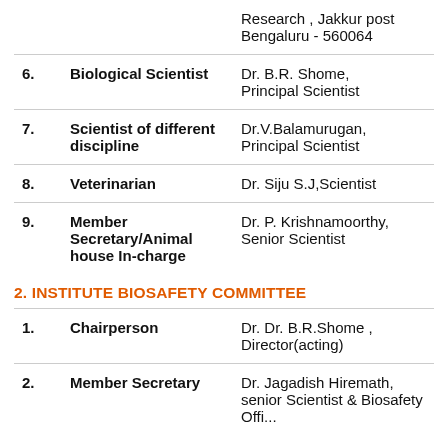| No. | Role | Person |
| --- | --- | --- |
|  | Research , Jakkur post Bengaluru - 560064 |  |
| 6. | Biological Scientist | Dr. B.R. Shome, Principal Scientist |
| 7. | Scientist of different discipline | Dr.V.Balamurugan, Principal Scientist |
| 8. | Veterinarian | Dr. Siju S.J,Scientist |
| 9. | Member Secretary/Animal house In-charge | Dr. P. Krishnamoorthy, Senior Scientist |
2. INSTITUTE BIOSAFETY COMMITTEE
| No. | Role | Person |
| --- | --- | --- |
| 1. | Chairperson | Dr. Dr. B.R.Shome , Director(acting) |
| 2. | Member Secretary | Dr. Jagadish Hiremath, senior Scientist & Biosafety Offi... |